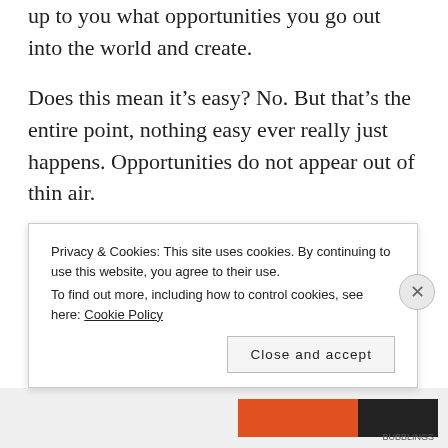up to you what opportunities you go out into the world and create.
Does this mean it’s easy? No. But that’s the entire point, nothing easy ever really just happens. Opportunities do not appear out of thin air.
Opportunities require effort, energy, time
Privacy & Cookies: This site uses cookies. By continuing to use this website, you agree to their use.
To find out more, including how to control cookies, see here: Cookie Policy
Close and accept